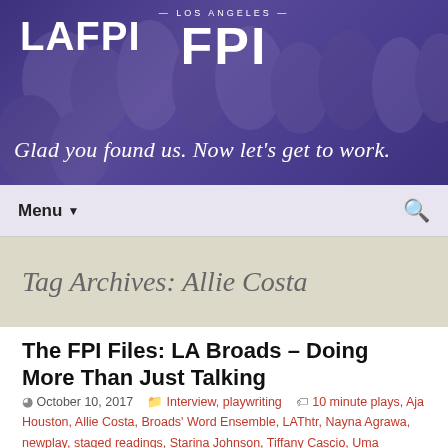LAFPI — Glad you found us. Now let's get to work.
[Figure (logo): LAFPI website header banner with purple background, crowd photo overlay, FPI logo in center, tagline 'Glad you found us. Now let's get to work.']
Menu ▼
Tag Archives: Allie Costa
The FPI Files: LA Broads – Doing More Than Just Talking
October 10, 2017   Interview, playwriting   10 minute plays, Aja Houston, Allie Costa, Broads' Word Ensemble, LAThtr, Nayna Agrawa, newplay, staged readings, Starina Johnson, Tiffany Cascio, Uma Incrocci, women directors, women playwrights   LAFPI